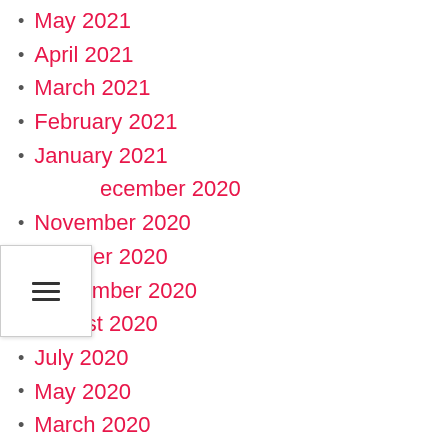May 2021
April 2021
March 2021
February 2021
January 2021
December 2020
November 2020
October 2020
September 2020
August 2020
July 2020
May 2020
March 2020
January 2020
November 2019
October 2019
May 2019
March 2019
January 2019